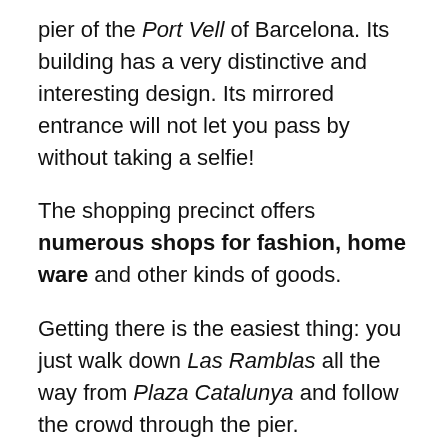pier of the Port Vell of Barcelona. Its building has a very distinctive and interesting design. Its mirrored entrance will not let you pass by without taking a selfie!
The shopping precinct offers numerous shops for fashion, home ware and other kinds of goods.
Getting there is the easiest thing: you just walk down Las Ramblas all the way from Plaza Catalunya and follow the crowd through the pier.
You will not have a more enjoyable and romantic walk, especially if you do it during the sunset.
Here you have the beautiful Rambla de Mar just before reaching the mall.